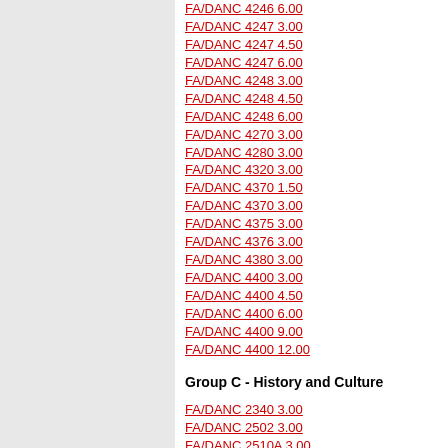FA/DANC 4246 6.00
FA/DANC 4247 3.00
FA/DANC 4247 4.50
FA/DANC 4247 6.00
FA/DANC 4248 3.00
FA/DANC 4248 4.50
FA/DANC 4248 6.00
FA/DANC 4270 3.00
FA/DANC 4280 3.00
FA/DANC 4320 3.00
FA/DANC 4370 1.50
FA/DANC 4370 3.00
FA/DANC 4375 3.00
FA/DANC 4376 3.00
FA/DANC 4380 3.00
FA/DANC 4400 3.00
FA/DANC 4400 4.50
FA/DANC 4400 6.00
FA/DANC 4400 9.00
FA/DANC 4400 12.00
Group C - History and Culture
FA/DANC 2340 3.00
FA/DANC 2502 3.00
FA/DANC 2510A 3.00
FA/DANC 2510B 3.00
FA/DANC 2510C 3.00
FA/DANC 2510D 3.00
FA/DANC 2510E 3.00
FA/DANC 2510F 3.00
FA/DANC 2510G 3.00
FA/DANC 2510H 3.00